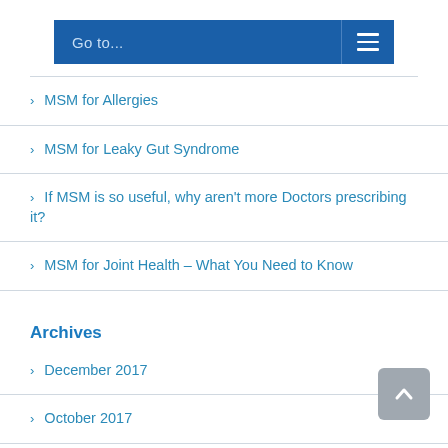[Figure (screenshot): Navigation bar with 'Go to...' label and hamburger menu icon on blue background]
MSM for Allergies
MSM for Leaky Gut Syndrome
If MSM is so useful, why aren't more Doctors prescribing it?
MSM for Joint Health – What You Need to Know
Archives
December 2017
October 2017